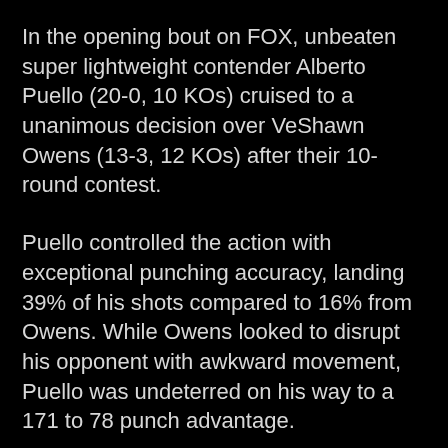In the opening bout on FOX, unbeaten super lightweight contender Alberto Puello (20-0, 10 KOs) cruised to a unanimous decision over VeShawn Owens (13-3, 12 KOs) after their 10-round contest.
Puello controlled the action with exceptional punching accuracy, landing 39% of his shots compared to 16% from Owens. While Owens looked to disrupt his opponent with awkward movement, Puello was undeterred on his way to a 171 to 78 punch advantage.